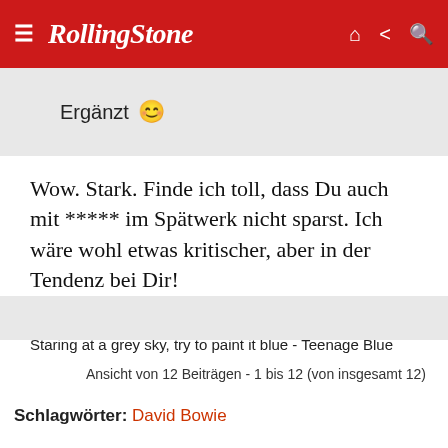RollingStone
Ergänzt 😊
Wow. Stark. Finde ich toll, dass Du auch mit ***** im Spätwerk nicht sparst. Ich wäre wohl etwas kritischer, aber in der Tendenz bei Dir!
--
Staring at a grey sky, try to paint it blue - Teenage Blue
Ansicht von 12 Beiträgen - 1 bis 12 (von insgesamt 12)
Schlagwörter: David Bowie